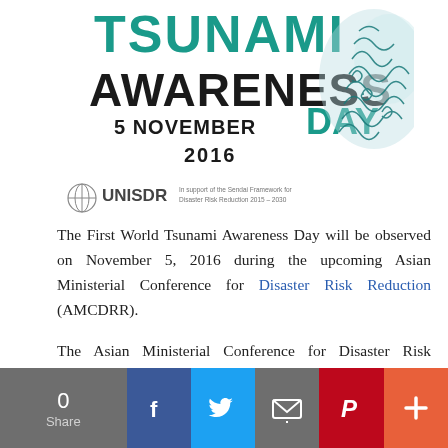[Figure (logo): World Tsunami Awareness Day 5 November 2016 logo with teal wave illustration]
[Figure (logo): UNISDR logo with text 'In support of the Sendai Framework for Disaster Risk Reduction 2015-2030']
The First World Tsunami Awareness Day will be observed on November 5, 2016 during the upcoming Asian Ministerial Conference for Disaster Risk Reduction (AMCDRR).
The Asian Ministerial Conference for Disaster Risk Reduction (AMCDRR) is going to be held by the government of India in collaboration with the UN Office for Disaster Risk Reduction (UNISDR) between November 2-5, 2016.